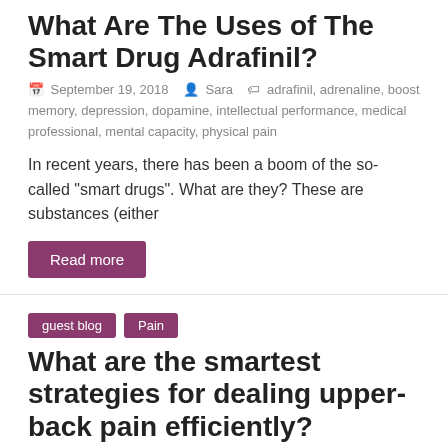What Are The Uses of The Smart Drug Adrafinil?
September 19, 2018  Sara  adrafinil, adrenaline, boost memory, depression, dopamine, intellectual performance, medical professional, mental capacity, physical pain
In recent years, there has been a boom of the so-called “smart drugs”. What are they? These are substances (either
Read more
guest blog  Pain
What are the smartest strategies for dealing upper-back pain efficiently?
August 21, 2018  Sara  back pain, depression, pain, Pain Killer, sciatic pain, sciatica treatment, shoulder bags, Smoking, stress, upper back pain